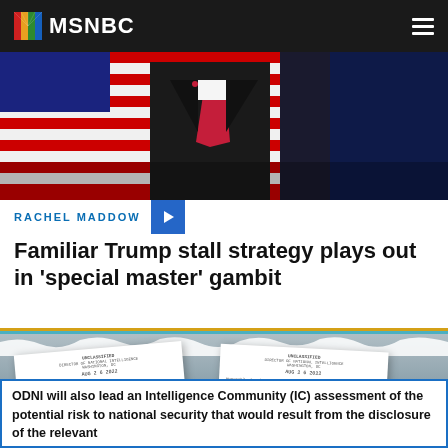MSNBC
[Figure (photo): Man in dark suit with red tie standing in front of American flags, dark background]
RACHEL MADDOW
Familiar Trump stall strategy plays out in 'special master' gambit
[Figure (photo): Two official-looking government documents from Director of National Intelligence, partially overlapping, with a highlighted banner reading: ODNI will also lead an Intelligence Community (IC) assessment of the potential risk to national security that would result from the disclosure of the relevant]